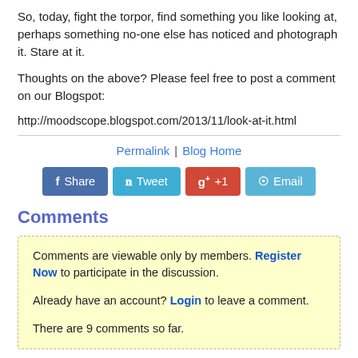So, today, fight the torpor, find something you like looking at, perhaps something no-one else has noticed and photograph it. Stare at it.
Thoughts on the above? Please feel free to post a comment on our Blogspot:
http://moodscope.blogspot.com/2013/11/look-at-it.html
Permalink | Blog Home
[Figure (other): Social share buttons: Share (Facebook), Tweet (Twitter), g+ +1 (Google+), Email]
Comments
Comments are viewable only by members. Register Now to participate in the discussion.

Already have an account? Login to leave a comment.

There are 9 comments so far.